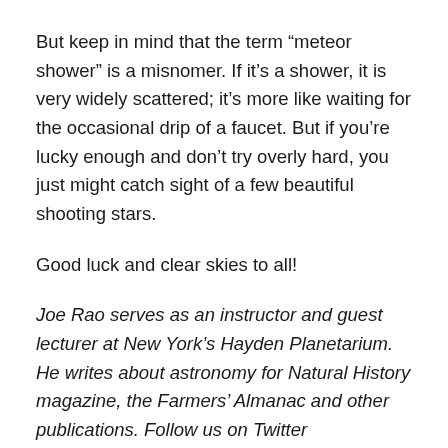But keep in mind that the term “meteor shower” is a misnomer. If it’s a shower, it is very widely scattered; it’s more like waiting for the occasional drip of a faucet. But if you’re lucky enough and don’t try overly hard, you just might catch sight of a few beautiful shooting stars.
Good luck and clear skies to all!
Joe Rao serves as an instructor and guest lecturer at New York’s Hayden Planetarium. He writes about astronomy for Natural History magazine, the Farmers’ Almanac and other publications. Follow us on Twitter @Spacedotcom and on Facebook.
Source